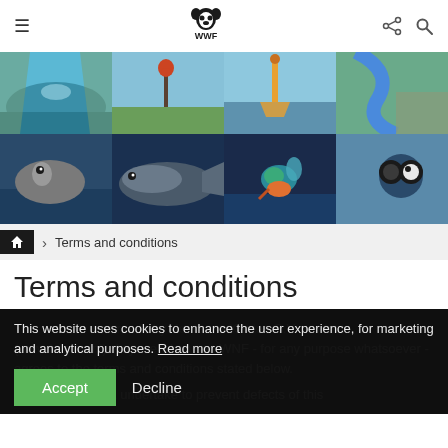WWF website navigation bar with hamburger menu, WWF panda logo, share and search icons
[Figure (photo): Top row of 4 nature/wildlife photos: river/stream, bird on post, person wading with equipment, aerial river bend]
[Figure (photo): Bottom row of 4 wildlife photos: seal in water, large fish, kingfisher bird, abstract wildlife closeup]
Terms and conditions
Terms and conditions
This website uses cookies to enhance the user experience, for marketing and analytical purposes. Read more
This website was made by Kentaa, a Kentaa B.V. product (www.kentaa.nl). Anyone who uses WNF - for any purpose whatsoever - agrees to the terms and conditions stated below.
WWF and Kentaa undertake to prevent defects of this